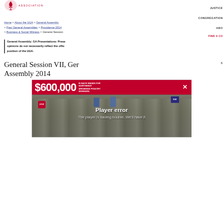[Figure (logo): Unitarian Universalist Association logo — red chalice icon with 'ASSOCIATION' text in red uppercase letters]
JUSTICE
CONGREGATION
ABO
FIND A CO
Home > About the UUA > General Assembly > Past General Assemblies > Providence 2014 > Business & Social Witness > General Session
General Assembly: GA Presentations: Prese opinions do not necessarily reflect the offic position of the UUA.
General Session VII, Ger Assembly 2014
[Figure (screenshot): Video player showing a red banner with '$600,000 IN BACK WAGES FOR NORTHWEST ARKANSAS POULTRY WORKERS' text, a crowd protest photo behind, and a 'Player error - The player is having trouble. We'll have it' message overlay]
S